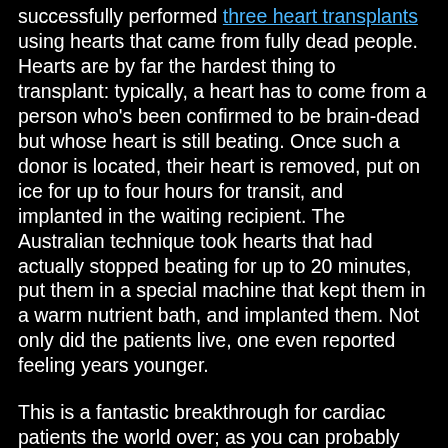successfully performed three heart transplants using hearts that came from fully dead people. Hearts are by far the hardest thing to transplant: typically, a heart has to come from a person who's been confirmed to be brain-dead but whose heart is still beating. Once such a donor is located, their heart is removed, put on ice for up to four hours for transit, and implanted in the waiting recipient. The Australian technique took hearts that had actually stopped beating for up to 20 minutes, put them in a special machine that kept them in a warm nutrient bath, and implanted them. Not only did the patients live, one even reported feeling years younger.
This is a fantastic breakthrough for cardiac patients the world over; as you can probably imagine, the people waiting for a new heart vastly outnumber the ones who fit the criteria for donating them, at least by current standards -- you must be brain-dead, but your heart must still be beating. Imagine if instead, the requirements were "you must have died no more than